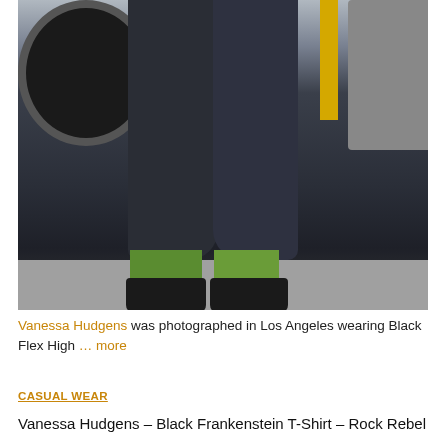[Figure (photo): Close-up photo of a person's lower body wearing dark/black leggings, green socks, and black lace-up shoes, standing in a parking lot with a vehicle and yellow poles visible in the background]
Vanessa Hudgens was photographed in Los Angeles wearing Black Flex High … more
CASUAL WEAR
Vanessa Hudgens – Black Frankenstein T-Shirt – Rock Rebel